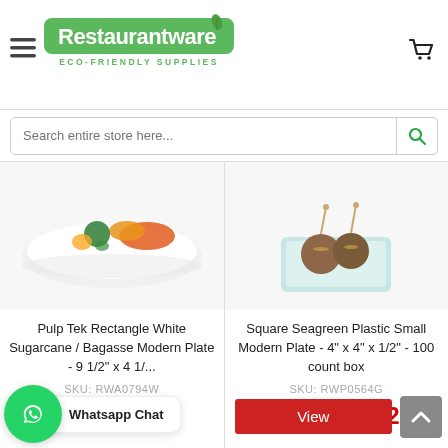Restaurantware ECO-FRIENDLY SUPPLIES
Search entire store here...
[Figure (photo): Photo of a white rectangular plate with colorful food (vegetables and protein) on it — product image for Pulp Tek Rectangle White Sugarcane/Bagasse Modern Plate]
Pulp Tek Rectangle White Sugarcane / Bagasse Modern Plate - 9 1/2" x 4 1/...
SKU: RWA0794W
Dhs. 133.55
[Figure (photo): Photo of a seagreen/clear square plastic plate with meatballs and toothpicks — product image for Square Seagreen Plastic Small Modern Plate]
Square Seagreen Plastic Small Modern Plate - 4" x 4" x 1/2" - 100 count box
SKU: RWP0564G
Dhs. 103.02
Whatsapp Chat
View